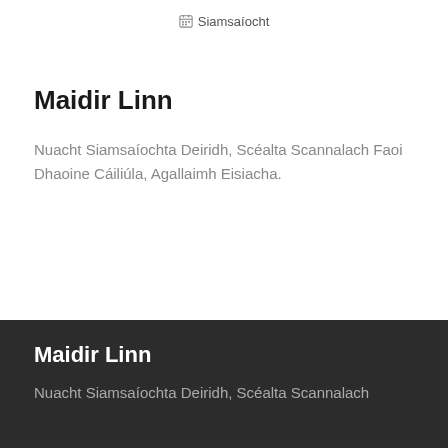Siamsaíocht
Maidir Linn
Nuacht Siamsaíochta Deiridh, Scéalta Scannalach Faoi Dhaoine Cáiliúla, Agallaimh Eisiacha.
Maidir Linn
Nuacht Siamsaíochta Deiridh, Scéalta Scannalach